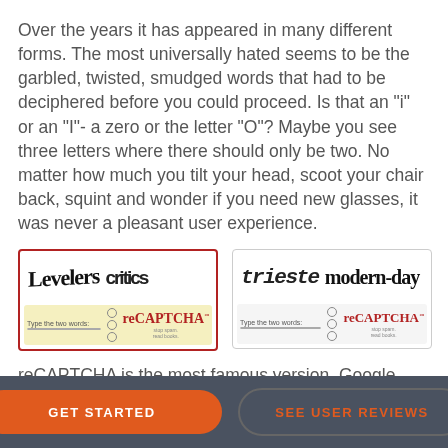Over the years it has appeared in many different forms. The most universally hated seems to be the garbled, twisted, smudged words that had to be deciphered before you could proceed. Is that an "i" or an "I"- a zero or the letter "O"? Maybe you see three letters where there should only be two. No matter how much you tilt your head, scoot your chair back, squint and wonder if you need new glasses, it was never a pleasant user experience.
[Figure (screenshot): reCAPTCHA widget showing distorted words 'Levelers critics' with input field and reCAPTCHA logo]
[Figure (screenshot): reCAPTCHA widget showing distorted words 'trieste modern-day' with input field and reCAPTCHA logo]
reCAPTCHA is the most famous version. Google
GET STARTED   SEE USER REVIEWS